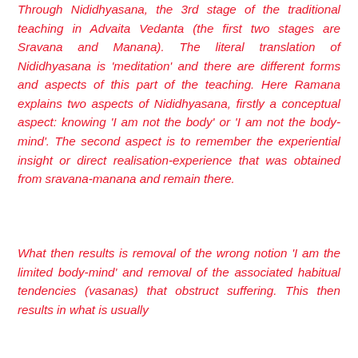Through Nididhyasana, the 3rd stage of the traditional teaching in Advaita Vedanta (the first two stages are Sravana and Manana). The literal translation of Nididhyasana is 'meditation' and there are different forms and aspects of this part of the teaching. Here Ramana explains two aspects of Nididhyasana, firstly a conceptual aspect: knowing 'I am not the body' or 'I am not the body-mind'. The second aspect is to remember the experiential insight or direct realisation-experience that was obtained from sravana-manana and remain there.
What then results is removal of the wrong notion 'I am the limited body-mind' and removal of the associated habitual tendencies (vasanas) that obstruct suffering. This then results in what is usually